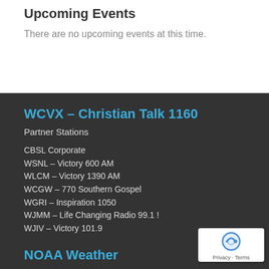Upcoming Events
There are no upcoming events at this time.
WCVX – Christian Talk 1160
Partner Stations
CBSL Corporate
WSNL – Victory 600 AM
WLCM – Victory 1390 AM
WCGW – 770 Southern Gospel
WGRI – Inspiration 1050
WJMM – Life Changing Radio 99.1 !
WJIV – Victory 101.9
NOAA Weather